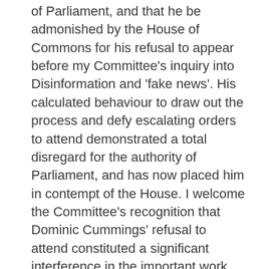of Parliament, and that he be admonished by the House of Commons for his refusal to appear before my Committee's inquiry into Disinformation and 'fake news'. His calculated behaviour to draw out the process and defy escalating orders to attend demonstrated a total disregard for the authority of Parliament, and has now placed him in contempt of the House. I welcome the Committee's recognition that Dominic Cummings' refusal to attend constituted a significant interference in the important work we did under the Disinformation and 'fake news' inquiry.
“The Dominic Cummings case also highlights the need for parliament to define in law what its powers should be to require witnesses to attend hearings, and what sanctions should apply if they do not.
“The DCMS Committee has been forced to rely on a number of different strategies to compel reluctant witnesses to attend…